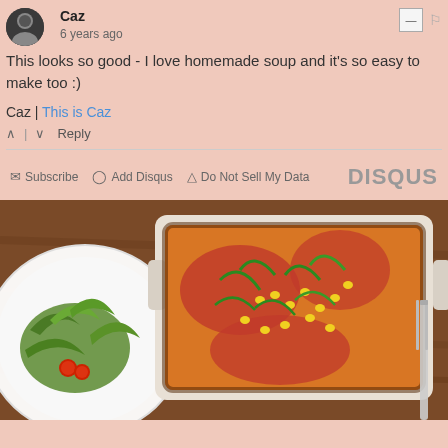Caz
6 years ago
This looks so good - I love homemade soup and it's so easy to make too :)
Caz | This is Caz
^ | v  Reply
Subscribe  Add Disqus  Do Not Sell My Data  DISQUS
[Figure (photo): Overhead view of a white ceramic baking dish with cheesy tomato casserole topped with corn and green onions, next to a white plate with salad greens and cherry tomatoes, on a wooden table with a fork visible at the right edge.]